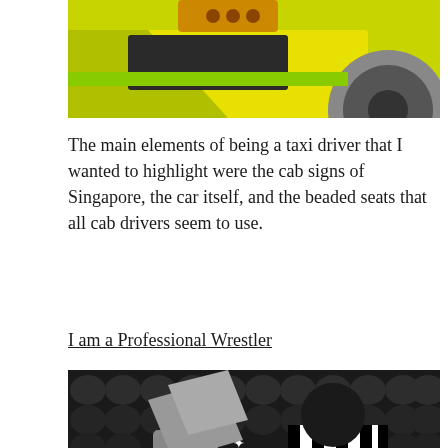[Figure (illustration): Top portion of a colorful illustration showing a yellow-green taxi car with a wheel visible on the right side against a yellow background]
The main elements of being a taxi driver that I wanted to highlight were the cab signs of Singapore, the car itself, and the beaded seats that all cab drivers seem to use.
I am a Professional Wrestler
[Figure (illustration): Illustration of a professional wrestling scene with a referee in black and white striped shirt, a wrestler wearing yellow-green sunglasses, red ropes of a wrestling ring, and a crowd of spectators in the background against a dark background]